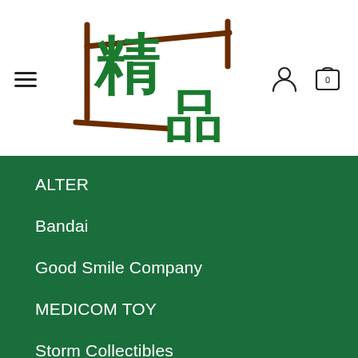[Figure (logo): Stylized Chinese character logo with brush-stroke brown strokes and green kanji characters 精品 (Jing Pin), meaning fine products/collectibles]
ALTER
Bandai
Good Smile Company
MEDICOM TOY
Storm Collectibles
Square Enix